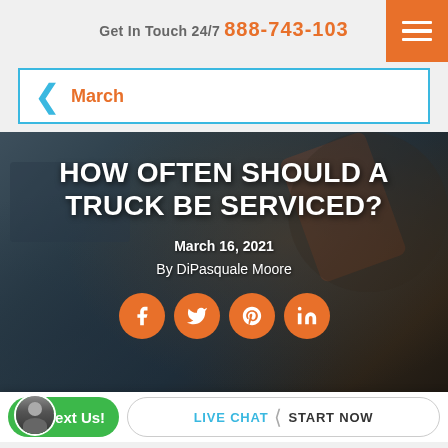Get In Touch 24/7  888-743-103…
March
[Figure (screenshot): Dark background photo of a truck engine being serviced, with overlay text showing blog post title, date, author, and social share icons]
HOW OFTEN SHOULD A TRUCK BE SERVICED?
March 16, 2021
By DiPasquale Moore
Text Us!  |  LIVE CHAT  START NOW